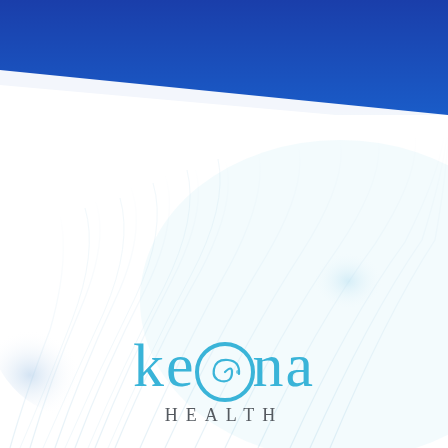[Figure (logo): Keona Health logo cover page with blue header band, white background with soft blue architectural curved lines and light glow effects in the lower portion, and the Keona Health logo centered at the bottom with a spiral 'o' lettermark]
keona HEALTH